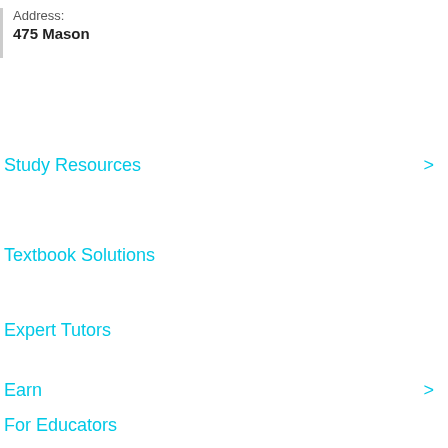Address: 475 Mason
Study Resources
Textbook Solutions
Expert Tutors
Earn
For Educators
Log in
Sign up